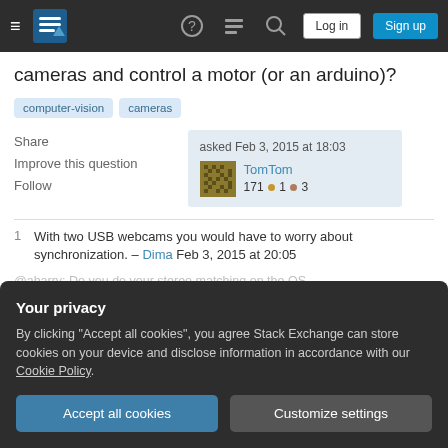Stack Exchange navigation bar with logo, help, chat, search, log in, sign up
cameras and control a motor (or an arduino)?
computer-vision
cameras
Share
Improve this question
Follow
asked Feb 3, 2015 at 18:03
TomTom
171 ●1 ●3
1   With two USB webcams you would have to worry about synchronization. – Dima Feb 3, 2015 at 20:05
Your privacy
By clicking "Accept all cookies", you agree Stack Exchange can store cookies on your device and disclose information in accordance with our Cookie Policy.
Accept all cookies
Customize settings
@abarry: Do you do your stereo matching on the OS directly or do you send the image frames elsewhere for